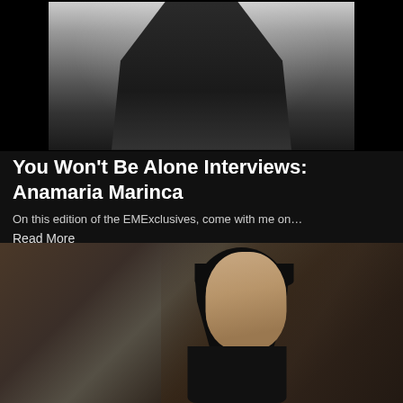[Figure (photo): Black and white photo of a person in a dark sweater, cropped at torso/waist, on a grey background]
You Won’t Be Alone Interviews: Anamaria Marinca
On this edition of the EMExclusives, come with me on…
Read More
[Figure (photo): Color photo of a woman with straight black hair and bangs, wearing a black outfit, looking to the side in an indoor setting]